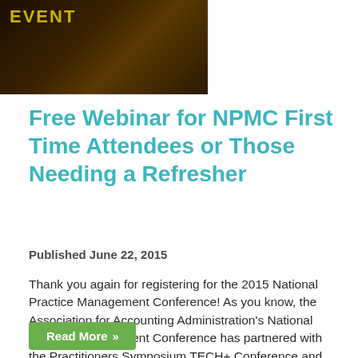[Figure (photo): Dark background image with tree roots and yellow 'EVENT' text overlay]
Free Webinar for NPMC First Time Attendees or Those Needing a Refresher
Published June 22, 2015
Thank you again for registering for the 2015 National Practice Management Conference! As you know, the Association for Accounting Administration's National Practice Management Conference has partnered with the Practitioners Symposium TECH+ Conference and the AAM Summit to deliver unique programs within a complete learning experience for you and your firm. With so much happening with respect to the Conference, we wanted to help those who ...
Read More »